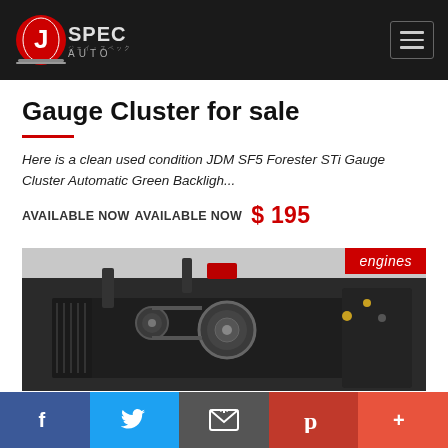[Figure (logo): JSpec Auto logo — red circular emblem with stylized J and SPEC AUTO text, on dark background]
Gauge Cluster for sale
Here is a clean used condition JDM SF5 Forester STi Gauge Cluster Automatic Green Backligh...
AVAILABLE NOW  AVAILABLE NOW  $ 195
[Figure (photo): Photo of a JDM engine (Subaru flat-four boxer engine) with belts, pulleys, and components visible, with a red 'engines' tag in the top right corner]
[Figure (infographic): Social media sharing bar with Facebook, Twitter, Email, Pinterest, and More (+) buttons]